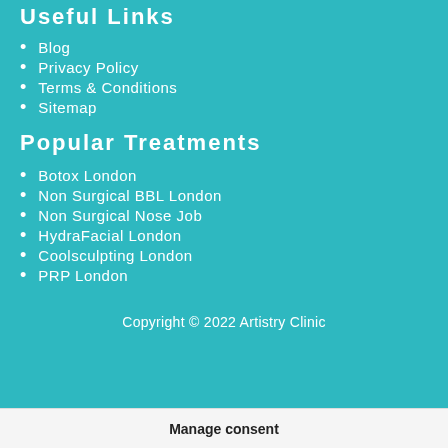Useful Links
Blog
Privacy Policy
Terms & Conditions
Sitemap
Popular Treatments
Botox London
Non Surgical BBL London
Non Surgical Nose Job
HydraFacial London
Coolsculpting London
PRP London
Copyright © 2022 Artistry Clinic
Manage consent